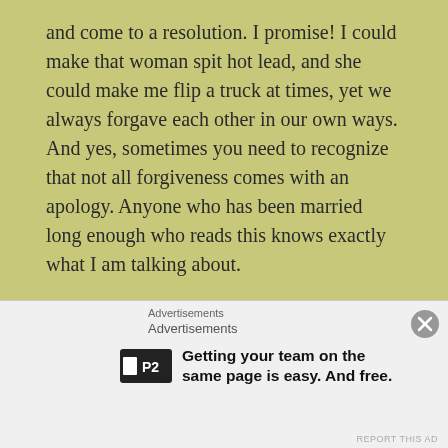and come to a resolution. I promise! I could make that woman spit hot lead, and she could make me flip a truck at times, yet we always forgave each other in our own ways. And yes, sometimes you need to recognize that not all forgiveness comes with an apology. Anyone who has been married long enough who reads this knows exactly what I am talking about.
Remember daily why you love them. Why you married them or are with them. Never forget that, they are special to you for a reason. Honor that reason and cherish it.
Advertisements
Advertisements
[Figure (logo): P2 logo and advertisement: Getting your team on the same page is easy. And free.]